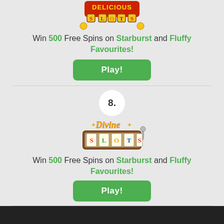[Figure (logo): Delicious Slots casino logo at top of page]
Win 500 Free Spins on Starburst and Fluffy Favourites!
[Figure (other): Green Play! button]
[Figure (other): Horizontal divider line]
8.
[Figure (logo): Divine Slots casino logo]
Win 500 Free Spins on Starburst and Fluffy Favourites!
[Figure (other): Green Play! button]
[Figure (other): Horizontal divider line]
view complete list
[Figure (other): Dark footer bar]